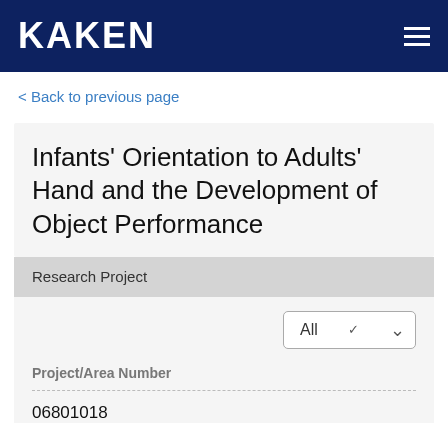KAKEN
< Back to previous page
Infants' Orientation to Adults' Hand and the Development of Object Performance
Research Project
All
Project/Area Number
06801018